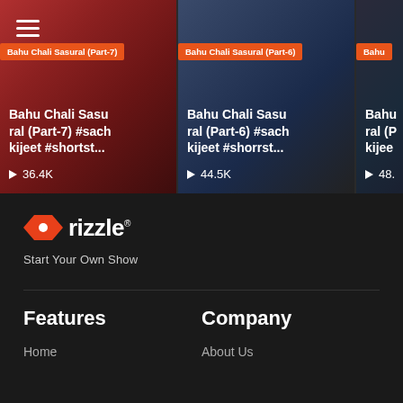[Figure (screenshot): Video card 1: Bahu Chali Sasural Part-7 thumbnail with woman in red traditional dress]
Bahu Chali Sasu ral (Part-7) #sach kijeet #shortst...
▶ 36.4K
[Figure (screenshot): Video card 2: Bahu Chali Sasural Part-6 thumbnail with man in blue checked shirt and dark jacket]
Bahu Chali Sasu ral (Part-6) #sach kijeet #shorrst...
▶ 44.5K
[Figure (screenshot): Video card 3: Bahu Chali Sasural (Part partially visible) thumbnail, partially clipped]
Bahu ral (P kijee
▶ 48.
[Figure (logo): Rizzle logo with red bowtie/star icon and white text 'rizzle' with registered trademark]
Start Your Own Show
Features
Company
Home
About Us